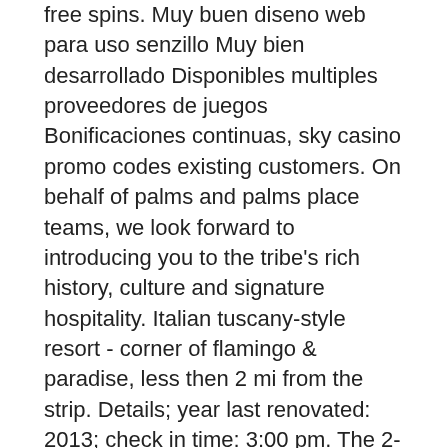free spins. Muy buen diseno web para uso senzillo Muy bien desarrollado Disponibles multiples proveedores de juegos Bonificaciones continuas, sky casino promo codes existing customers. On behalf of palms and palms place teams, we look forward to introducing you to the tribe's rich history, culture and signature hospitality. Italian tuscany-style resort - corner of flamingo &amp; paradise, less then 2 mi from the strip. Details; year last renovated: 2013; check in time: 3:00 pm. The 2-star days inn town hall casino las vegas is set 1 km from the venetian and 0. 4155 koval lane, las vegas, nv 89109, las vegas, united states. There is rear access from koval lane or front access from the strip. Stage door casino on flamingo road at koval lane in las vegas. Key largo was a hotel and casino located on 4. 96 ha) of land at 377 east flamingo road, one mile east of the las vegas strip, in paradise. This hotel have everything